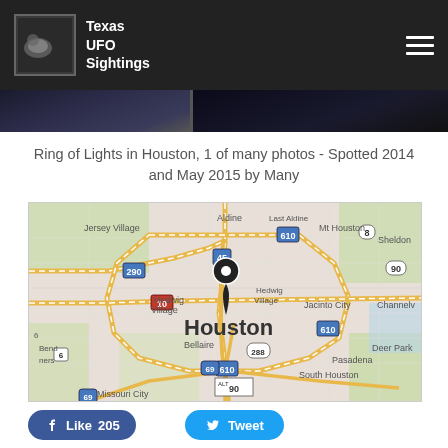Texas UFO Sightings
[Figure (photo): Dark nighttime cityscape image strip]
Ring of Lights in Houston, 1 of many photos - Spotted 2014 and May 2015 by Many
[Figure (map): Google map of Houston, Texas area showing location pin over downtown Houston. Labels visible: Jersey Village, Aldine, Last Aldine, Mt Houston, Sheldon, 290, 45, 8, 610, 90, 10, Hedwig Village, Houston, Jacinto City, Channelv[iew], 610, 69, Bellaire, 288, 610, Deer Park, 6, Bend, ners, Pasadena, South Houston, ALT 90, Missouri City, 69]
Like 205
Tweet